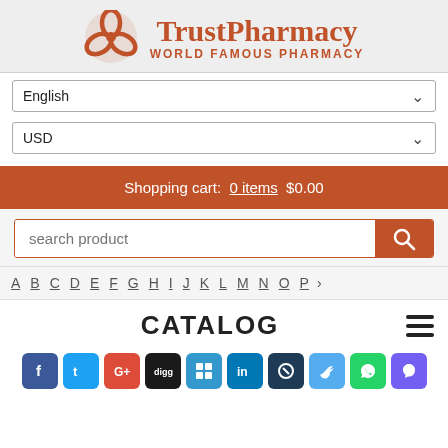[Figure (logo): TrustPharmacy logo with orange pretzel/clover icon and text 'TrustPharmacy WORLD FAMOUS PHARMACY']
English (dropdown selector)
USD (dropdown selector)
Shopping cart:  0 items  $0.00
search product
A B C D E F G H I J K L M N O P
CATALOG
[Figure (infographic): Row of social media sharing icons: Facebook, Twitter, Google+, Digg, Delicious, LinkedIn, Skype, Twitter bird, WhatsApp, Viber]